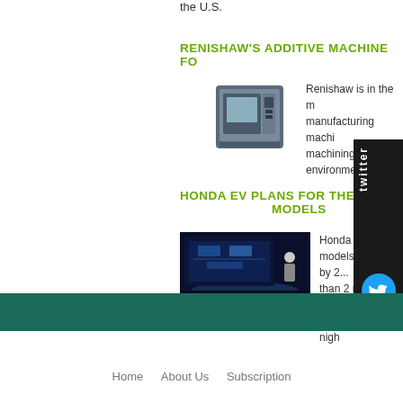the U.S.
RENISHAW'S ADDITIVE MACHINE FO
[Figure (photo): Photo of Renishaw additive manufacturing machine, grey industrial unit]
Renishaw is in the m manufacturing machi machining environme
HONDA EV PLANS FOR THE DI MODELS
[Figure (photo): Screenshot of Honda EV presentation showing a man presenting EV models on a stage with large screen]
Honda is planr models globally by 2... than 2 million units a briefing Monday nigh
[Figure (other): Twitter widget sidebar with Twitter bird logo]
Home   About Us   Subscription